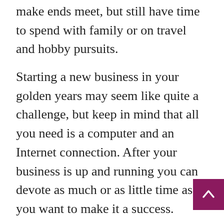make ends meet, but still have time to spend with family or on travel and hobby pursuits.
Starting a new business in your golden years may seem like quite a challenge, but keep in mind that all you need is a computer and an Internet connection. After your business is up and running you can devote as much or as little time as you want to make it a success.
Many seniors find themselves at loose ends upon retirement from a company. Medical problems may also loom large, preventing finding or performing a job as they once did. Choosing to use the Internet as a means to make money lets them enjoy the freedom to set their own hours and decide for